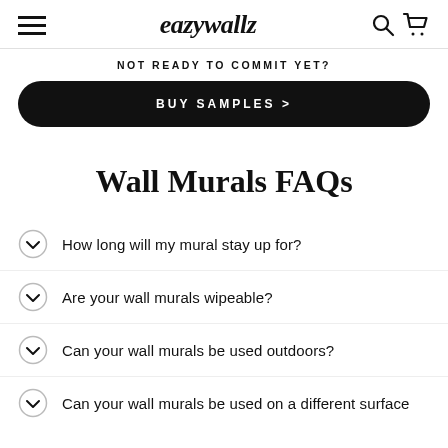eazywallz
NOT READY TO COMMIT YET?
BUY SAMPLES >
Wall Murals FAQs
How long will my mural stay up for?
Are your wall murals wipeable?
Can your wall murals be used outdoors?
Can your wall murals be used on a different surface